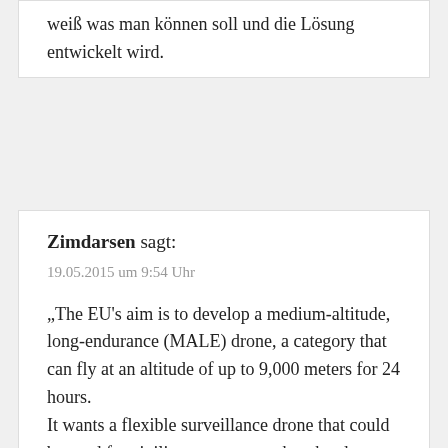weiß was man können soll und die Lösung entwickelt wird.
Zimdarsen sagt:
19.05.2015 um 9:54 Uhr

„The EU's aim is to develop a medium-altitude, long-endurance (MALE) drone, a category that can fly at an altitude of up to 9,000 meters for 24 hours.
It wants a flexible surveillance drone that could be used for civilian purposes such as border control, fire-fighting and disaster monitoring. One EU diplomat said they could also have a military